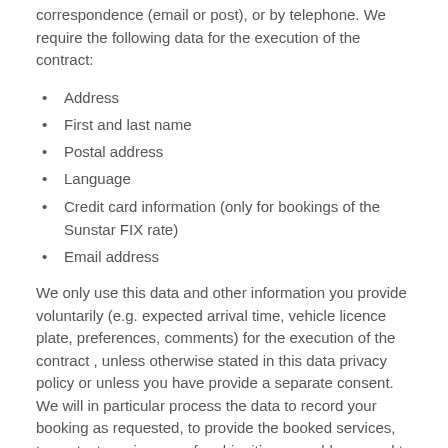correspondence (email or post), or by telephone. We require the following data for the execution of the contract:
Address
First and last name
Postal address
Language
Credit card information (only for bookings of the Sunstar FIX rate)
Email address
We only use this data and other information you provide voluntarily (e.g. expected arrival time, vehicle licence plate, preferences, comments) for the execution of the contract , unless otherwise stated in this data privacy policy or unless you have provide a separate consent. We will in particular process the data to record your booking as requested, to provide the booked services, to contact you in case of ambiguities or problems, and to ensure correct payment.